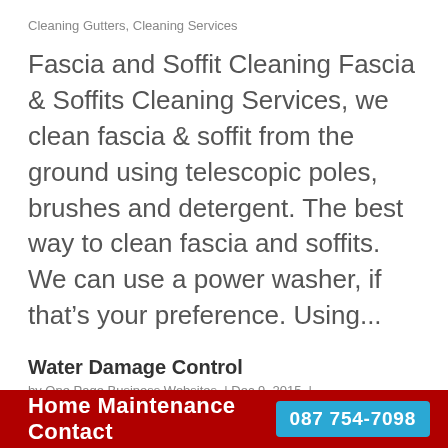Cleaning Gutters, Cleaning Services
Fascia and Soffit Cleaning Fascia & Soffits Cleaning Services, we clean fascia & soffit from the ground using telescopic poles, brushes and detergent. The best way to clean fascia and soffits. We can use a power washer, if that’s your preference. Using...
Water Damage Control
by One Page Business Websites  |  Dec 9, 2015  |
Cleaning Services
Home Maintenance Contact  087 754-7098